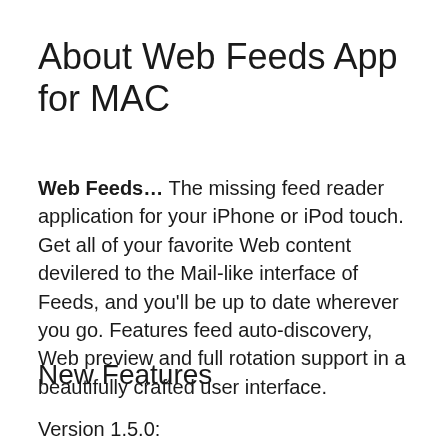About Web Feeds App for MAC
Web Feeds… The missing feed reader application for your iPhone or iPod touch. Get all of your favorite Web content devilered to the Mail-like interface of Feeds, and you'll be up to date wherever you go. Features feed auto-discovery, Web preview and full rotation support in a beautifully crafted user interface.
New Features
Version 1.5.0: